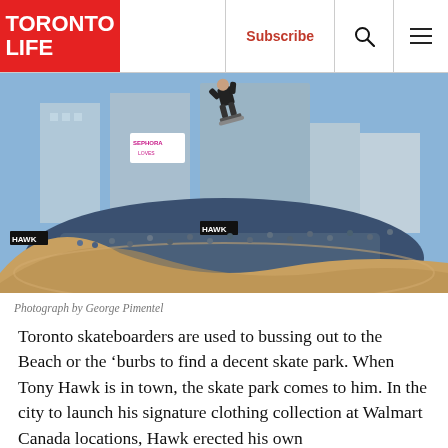TORONTO LIFE | Subscribe
[Figure (photo): Skateboarder performing aerial trick on a half-pipe ramp in an urban setting with large crowds watching, Toronto cityscape with office buildings in background, Sephora and Hawk branding visible on ramps]
Photograph by George Pimentel
Toronto skateboarders are used to bussing out to the Beach or the ‘burbs to find a decent skate park. When Tony Hawk is in town, the skate park comes to him. In the city to launch his signature clothing collection at Walmart Canada locations, Hawk erected his own